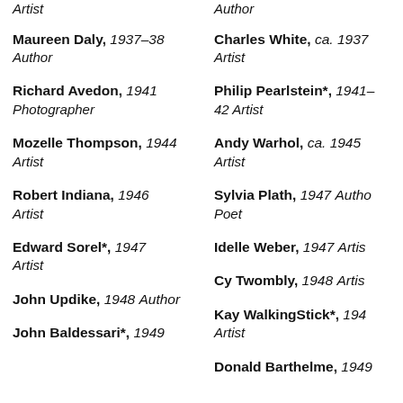Artist
Author
Maureen Daly, 1937–38
Author
Charles White, ca. 1937
Artist
Richard Avedon, 1941
Photographer
Philip Pearlstein*, 1941–42 Artist
Mozelle Thompson, 1944
Artist
Andy Warhol, ca. 1945
Artist
Robert Indiana, 1946
Artist
Sylvia Plath, 1947 Author
Poet
Edward Sorel*, 1947
Artist
Idelle Weber, 1947 Artist
Cy Twombly, 1948 Artist
John Updike, 1948 Author
Kay WalkingStick*, 1949
Artist
John Baldessari*, 1949
Donald Barthelme, 1949